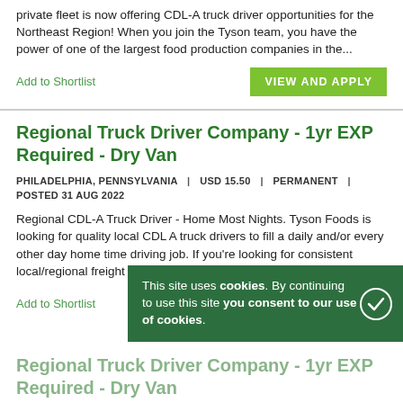private fleet is now offering CDL-A truck driver opportunities for the Northeast Region! When you join the Tyson team, you have the power of one of the largest food production companies in the...
Add to Shortlist
VIEW AND APPLY
Regional Truck Driver Company - 1yr EXP Required - Dry Van
PHILADELPHIA, PENNSYLVANIA | USD 15.50 | PERMANENT | POSTED 31 AUG 2022
Regional CDL-A Truck Driver - Home Most Nights. Tyson Foods is looking for quality local CDL A truck drivers to fill a daily and/or every other day home time driving job. If you're looking for consistent local/regional freight and home time multiple...
Add to Shortlist
VIEW AND APPLY
This site uses cookies. By continuing to use this site you consent to our use of cookies.
Regional Truck Driver Company - 1yr EXP Required - Dry Van